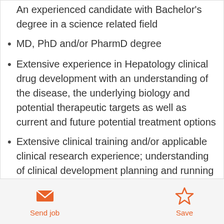An experienced candidate with Bachelor's degree in a science related field
MD, PhD and/or PharmD degree
Extensive experience in Hepatology clinical drug development with an understanding of the disease, the underlying biology and potential therapeutic targets as well as current and future potential treatment options
Extensive clinical training and/or applicable clinical research experience; understanding of clinical development planning and running clinical trial from concept study idea to publication.
Send job
Save